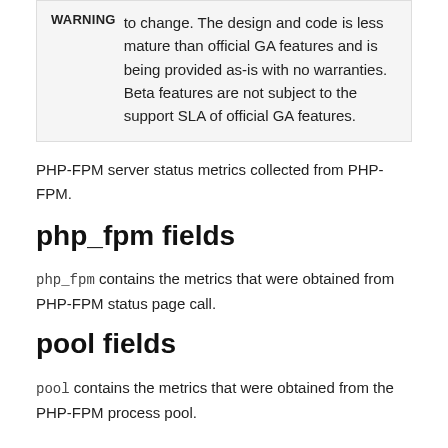WARNING to change. The design and code is less mature than official GA features and is being provided as-is with no warranties. Beta features are not subject to the support SLA of official GA features.
PHP-FPM server status metrics collected from PHP-FPM.
php_fpm fields
php_fpm contains the metrics that were obtained from PHP-FPM status page call.
pool fields
pool contains the metrics that were obtained from the PHP-FPM process pool.